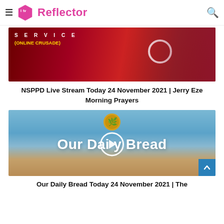ITV Reflector
[Figure (screenshot): Red background banner image showing 'SERVICE' text and '(ONLINE CRUSADE)' subtitle with a person visible on the right side, overlaid with a circular ring shape]
NSPPD Live Stream Today 24 November 2021 | Jerry Eze Morning Prayers
[Figure (screenshot): Our Daily Bread thumbnail with blue sky and golden hour background. Large white text reads 'Our Daily Bread' with a play button circle overlay. Yellow circular logo with wheat/grain emblem at top center.]
Our Daily Bread Today 24 November 2021 | The